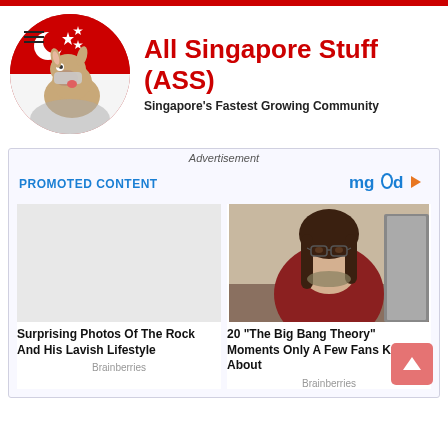[Figure (logo): All Singapore Stuff (ASS) website logo with donkey mascot on Singapore flag circle]
All Singapore Stuff (ASS)
Singapore's Fastest Growing Community
Advertisement
PROMOTED CONTENT
[Figure (logo): mgid logo with play button triangle]
[Figure (photo): Empty/blank left card image placeholder]
Surprising Photos Of The Rock And His Lavish Lifestyle
Brainberries
[Figure (photo): Woman with glasses in red cardigan, from The Big Bang Theory]
20 "The Big Bang Theory" Moments Only A Few Fans Knew About
Brainberries